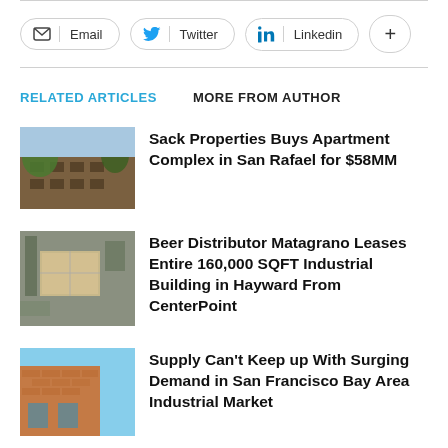[Figure (infographic): Social share buttons row: Email, Twitter, LinkedIn, and a plus/more button]
RELATED ARTICLES   MORE FROM AUTHOR
[Figure (photo): Exterior photo of a multi-story apartment complex with brick facade and trees]
Sack Properties Buys Apartment Complex in San Rafael for $58MM
[Figure (photo): Aerial view of an industrial building and surrounding area]
Beer Distributor Matagrano Leases Entire 160,000 SQFT Industrial Building in Hayward From CenterPoint
[Figure (photo): Exterior corner of a brick industrial building against blue sky]
Supply Can't Keep up With Surging Demand in San Francisco Bay Area Industrial Market